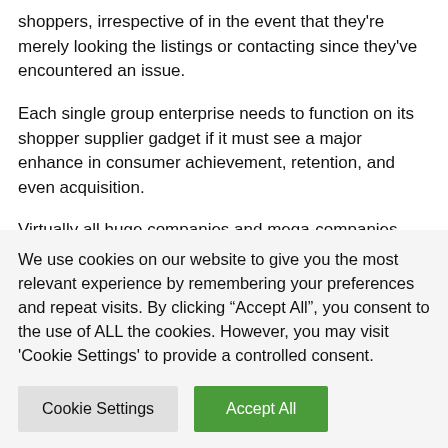shoppers, irrespective of in the event that they're merely looking the listings or contacting since they've encountered an issue.
Each single group enterprise needs to function on its shopper supplier gadget if it must see a major enhance in consumer achievement, retention, and even acquisition.
Virtually all huge companies and mega-companies commit intensely in consumer help. Try this web site for a distinctive cable customer support, as an living proof. The stage is that shopper assist is the face of an
We use cookies on our website to give you the most relevant experience by remembering your preferences and repeat visits. By clicking “Accept All”, you consent to the use of ALL the cookies. However, you may visit 'Cookie Settings' to provide a controlled consent.